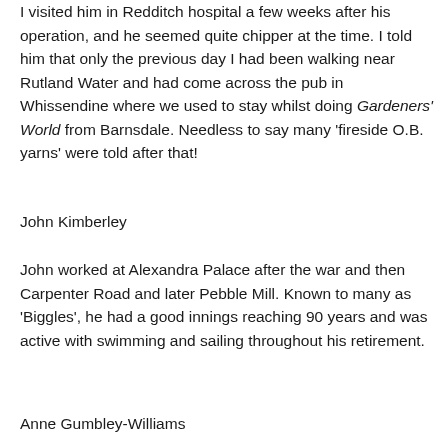I visited him in Redditch hospital a few weeks after his operation, and he seemed quite chipper at the time. I told him that only the previous day I had been walking near Rutland Water and had come across the pub in Whissendine where we used to stay whilst doing Gardeners' World from Barnsdale. Needless to say many 'fireside O.B. yarns' were told after that!
John Kimberley
John worked at Alexandra Palace after the war and then Carpenter Road and later Pebble Mill. Known to many as 'Biggles', he had a good innings reaching 90 years and was active with swimming and sailing throughout his retirement.
Anne Gumbley-Williams